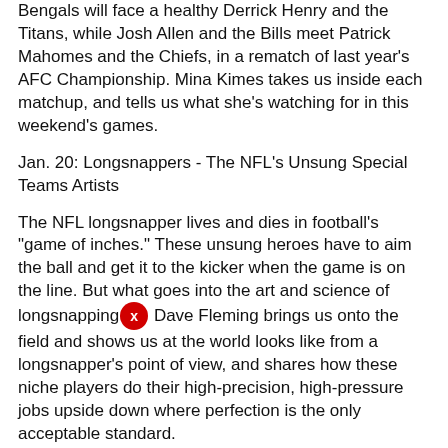Bengals will face a healthy Derrick Henry and the Titans, while Josh Allen and the Bills meet Patrick Mahomes and the Chiefs, in a rematch of last year's AFC Championship. Mina Kimes takes us inside each matchup, and tells us what she's watching for in this weekend's games.
Jan. 20: Longsnappers - The NFL's Unsung Special Teams Artists
The NFL longsnapper lives and dies in football's "game of inches." These unsung heroes have to aim the ball and get it to the kicker when the game is on the line. But what goes into the art and science of longsnapping? Dave Fleming brings us onto the field and shows us at the world looks like from a longsnapper's point of view, and shares how these niche players do their high-precision, high-pressure jobs upside down where perfection is the only acceptable standard.
Jan. 19: Blood in the Garden - How the 90s Knicks Gave Rise to the Modern NBA
Despite decades of mediocrity, the New York Knicks inspire an almost religious devotion from their rabid fanbase. The Nets may play across town with three of the biggest stars in